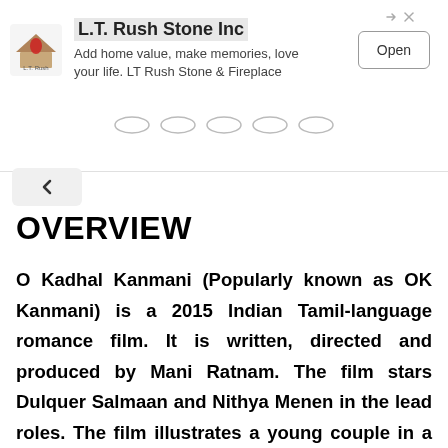[Figure (other): Advertisement banner for L.T. Rush Stone Inc with logo, text 'Add home value, make memories, love your life. LT Rush Stone & Fireplace' and Open button]
OVERVIEW
O Kadhal Kanmani (Popularly known as OK Kanmani) is a 2015 Indian Tamil-language romance film. It is written, directed and produced by Mani Ratnam. The film stars Dulquer Salmaan and Nithya Menen in the lead roles. The film illustrates a young couple in a live-in relationship in Mumbai. Prakash Raj and Leela Samson play supporting roles as an older couple in the film, portraying the younger